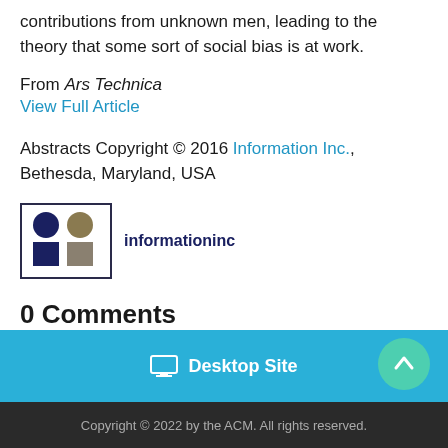contributions from unknown men, leading to the theory that some sort of social bias is at work.
From Ars Technica
View Full Article
Abstracts Copyright © 2016 Information Inc., Bethesda, Maryland, USA
[Figure (logo): Information Inc. logo with colored circles and squares grid beside the text 'informationinc']
0 Comments
No entries found
Desktop Site
Copyright © 2022 by the ACM. All rights reserved.